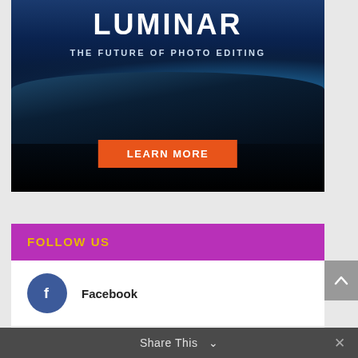[Figure (illustration): Luminar photo editing software advertisement. Dark background with Earth viewed from space. Large text reads LUMINAR, subtitle THE FUTURE OF PHOTO EDITING, orange LEARN MORE button at bottom.]
FOLLOW US
Facebook
Youtube 413 subscribers
Share This